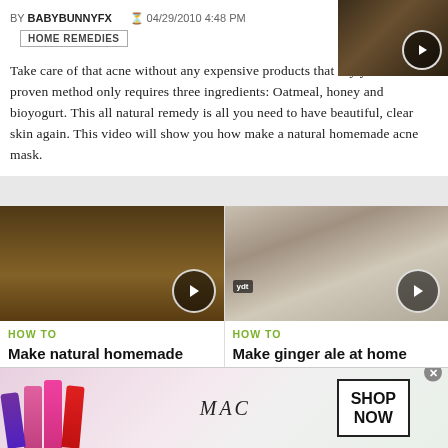BY BABYBUNNYFX  04/29/2010 4:48 PM
HOME REMEDIES
[Figure (photo): Video thumbnail showing hands working with ingredients, with play button overlay]
Take care of that acne without any expensive products that dry you out. This proven method only requires three ingredients: Oatmeal, honey and bioyogurt. This all natural remedy is all you need to have beautiful, clear skin again. This video will show you how make a natural homemade acne mask.
[Figure (photo): Video thumbnail of kitchen counter with bottles and measuring cups, play button overlay]
HOW TO
Make natural homemade furniture polish
[Figure (photo): Video thumbnail of smiling young woman with ydt badge, play button overlay]
HOW TO
Make ginger ale at home using organic ingredients
[Figure (photo): MAC cosmetics advertisement with lipsticks, MAC logo, and SHOP NOW call to action]